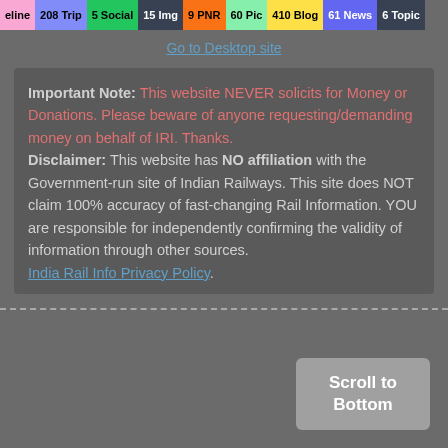eline 208 Trip 5 Social 15 Img 9 PNR 60 Pic 410 Blog 61 News 6 Topic
Go to Desktop site
Important Note: This website NEVER solicits for Money or Donations. Please beware of anyone requesting/demanding money on behalf of IRI. Thanks. Disclaimer: This website has NO affiliation with the Government-run site of Indian Railways. This site does NOT claim 100% accuracy of fast-changing Rail Information. YOU are responsible for independently confirming the validity of information through other sources. India Rail Info Privacy Policy.
Scroll to Bottom